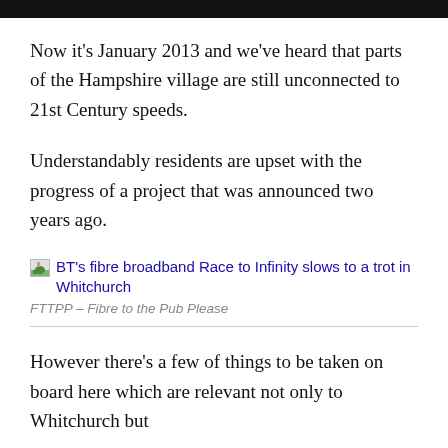Now it's January 2013 and we've heard that parts of the Hampshire village are still unconnected to 21st Century speeds.
Understandably residents are upset with the progress of a project that was announced two years ago.
[Figure (other): Thumbnail image link: BT's fibre broadband Race to Infinity slows to a trot in Whitchurch — FTTPP – Fibre to the Pub Please]
However there's a few of things to be taken on board here which are relevant not only to Whitchurch but